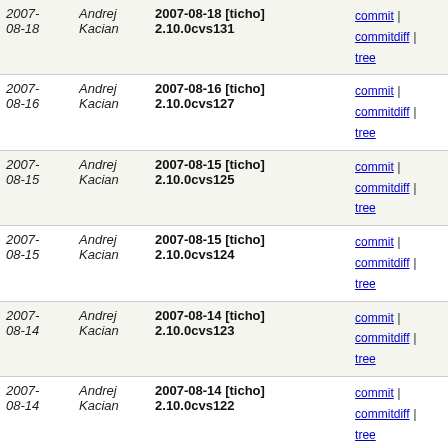| Date | Author | Commit | Links |
| --- | --- | --- | --- |
| 2007-08-18 | Andrej Kacian | 2007-08-18 [ticho] 2.10.0cvs131 | commit | commitdiff | tree |
| 2007-08-16 | Andrej Kacian | 2007-08-16 [ticho] 2.10.0cvs127 | commit | commitdiff | tree |
| 2007-08-15 | Andrej Kacian | 2007-08-15 [ticho] 2.10.0cvs125 | commit | commitdiff | tree |
| 2007-08-15 | Andrej Kacian | 2007-08-15 [ticho] 2.10.0cvs124 | commit | commitdiff | tree |
| 2007-08-14 | Andrej Kacian | 2007-08-14 [ticho] 2.10.0cvs123 | commit | commitdiff | tree |
| 2007-08-14 | Andrej Kacian | 2007-08-14 [ticho] 2.10.0cvs122 | commit | commitdiff | tree |
| 2007-08-14 | Andrej Kacian | 2007-08-14 [ticho] 2.10.0cvs120 | commit | commitdiff | tree |
| 2007-08-12 | Andrej Kacian | 2007-08-12 [ticho] 2.10.0cvs114 | commit | commitdiff | tree |
| 2007-08-08 | Andrej Kacian | 2007-08-08 [ticho] 2.10.0cvs102 | commit | commitdiff | tree |
| 2007-08-06 | Andrej Kacian | 2007-08-06 [ticho] 2.10.0cvs93 | commit | commitdiff | tree |
| 2006-12-15 | Andrej Kacian | 2006-12-15 [ticho] 2.6.1cvs38 | commit | commitdiff | tree |
| 2006-10-09 | Andrej Kacian | 2006-10-09 [ticho] 2.5.3cvs24 | commit | commitdiff | tree |
| 2006-10-03 | Andrej Kacian | 2006-10-03 [ticho] 2.5.2cvs39 | commit | commitdiff | tree |
| 2006-... | Andrej ... | 2006-09-09 [ticho] 2.5.2cvs12 | commit | ... |